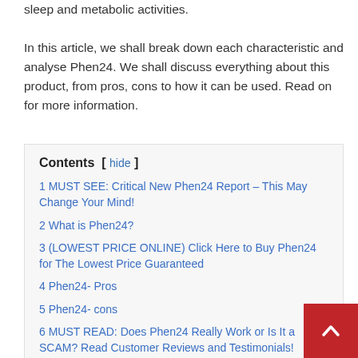sleep and metabolic activities.

In this article, we shall break down each characteristic and analyse Phen24. We shall discuss everything about this product, from pros, cons to how it can be used. Read on for more information.
Contents [ hide ]
1 MUST SEE: Critical New Phen24 Report – This May Change Your Mind!
2 What is Phen24?
3 (LOWEST PRICE ONLINE) Click Here to Buy Phen24 for The Lowest Price Guaranteed
4 Phen24- Pros
5 Phen24- cons
6 MUST READ: Does Phen24 Really Work or Is It a SCAM? Read Customer Reviews and Testimonials!